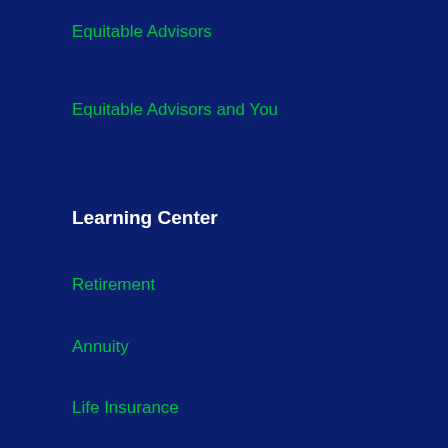Equitable Advisors
Equitable Advisors and You
Learning Center
Retirement
Annuity
Life Insurance
Investing
Other Financial Topics
Working With Us
Strategies for Individuals